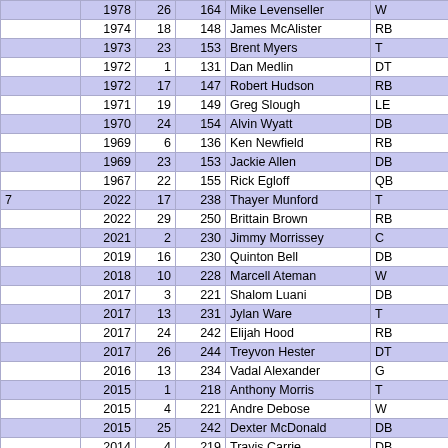|  | Year | Pick | Overall | Name | Pos |
| --- | --- | --- | --- | --- | --- |
|  | 1978 | 26 | 164 | Mike Levenseller | W |
|  | 1974 | 18 | 148 | James McAlister | RB |
|  | 1973 | 23 | 153 | Brent Myers | T |
|  | 1972 | 1 | 131 | Dan Medlin | DT |
|  | 1972 | 17 | 147 | Robert Hudson | RB |
|  | 1971 | 19 | 149 | Greg Slough | LE |
|  | 1970 | 24 | 154 | Alvin Wyatt | DB |
|  | 1969 | 6 | 136 | Ken Newfield | RB |
|  | 1969 | 23 | 153 | Jackie Allen | DB |
|  | 1967 | 22 | 155 | Rick Egloff | QB |
| 7 | 2022 | 17 | 238 | Thayer Munford | T |
|  | 2022 | 29 | 250 | Brittain Brown | RB |
|  | 2021 | 2 | 230 | Jimmy Morrissey | C |
|  | 2019 | 16 | 230 | Quinton Bell | DB |
|  | 2018 | 10 | 228 | Marcell Ateman | W |
|  | 2017 | 3 | 221 | Shalom Luani | DB |
|  | 2017 | 13 | 231 | Jylan Ware | T |
|  | 2017 | 24 | 242 | Elijah Hood | RB |
|  | 2017 | 26 | 244 | Treyvon Hester | DT |
|  | 2016 | 13 | 234 | Vadal Alexander | G |
|  | 2015 | 1 | 218 | Anthony Morris | T |
|  | 2015 | 4 | 221 | Andre Debose | W |
|  | 2015 | 25 | 242 | Dexter McDonald | DB |
|  | 2014 | 4 | 219 | Travis Carrie | DB |
|  | 2014 | 20 | 235 | Shelby Harris | DE |
|  | 2014 | 32 | 247 | Jonathan Dowling | DB |
|  | 2013 | 3 | 209 | Brice Butler | W |
|  | 2013 | 27 | 233 | David Bass | DB |
|  | 2012 | 23 | 230 | Nathan Stupar | LB |
|  | 2011 | 38 | 241 | David Ausberry | W |